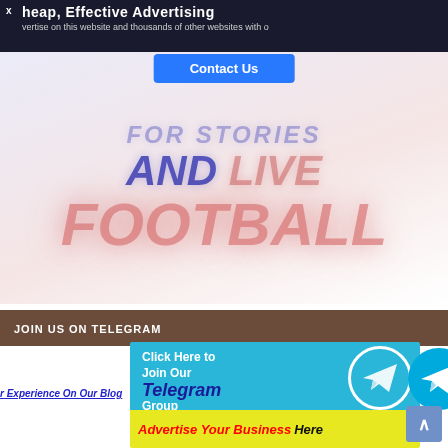Cheap, Effective Advertising
Advertise on this website and thousands of other websites with our network
[Figure (infographic): Contact Us button in blue]
[Figure (infographic): Hero text: FOR STORIES AND LIVE FOOTBALL in large bold italic letters with blue and red/pink color styling on light gradient background]
JOIN US ON TELEGRAM
[Figure (infographic): Telegram group join banner: Click Here to Join Our Telegram Group with Telegram icons, and yellow band saying Advertise Your Business Here]
r Experience On Our Blog